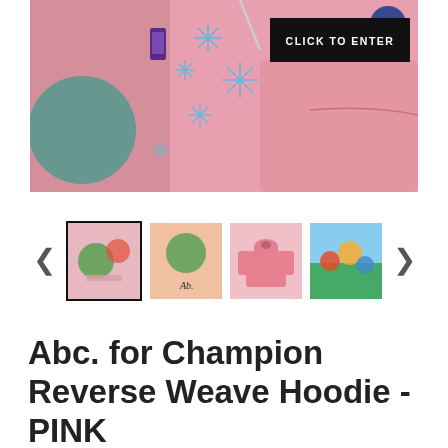[Figure (photo): Close-up of a pink Champion hoodie with blue snowflake/star embroidery designs and a sequined patch. A 'CLICK TO ENTER' button overlay appears in the top right corner.]
[Figure (photo): Thumbnail carousel showing four images of the Abc. for Champion Reverse Weave Hoodie in Pink, with left and right navigation arrows.]
Abc. for Champion Reverse Weave Hoodie - PINK